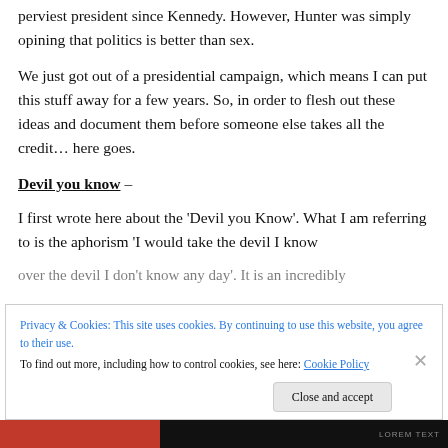perviest president since Kennedy.  However, Hunter was simply opining that politics is better than sex.
We just got out of a presidential campaign, which means I can put this stuff away for a few years.  So, in order to flesh out these ideas and document them before someone else takes all the credit… here goes.
Devil you know –
I first wrote here about the 'Devil you Know'.  What I am referring to is the aphorism 'I would take the devil I know over the devil I don't know any day'. It is an incredibly
Privacy & Cookies: This site uses cookies. By continuing to use this website, you agree to their use.
To find out more, including how to control cookies, see here: Cookie Policy